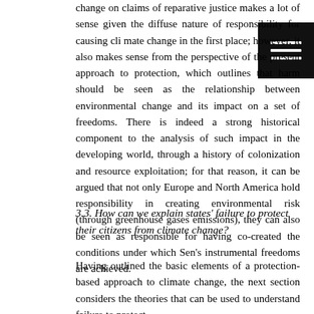change on claims of reparative justice makes a lot of sense given the diffuse nature of responsibility for causing climate change in the first place; however, it also makes sense from the perspective of the present approach to protection, which outlines that harm should be seen as the relationship between environmental change and its impact on a set of freedoms. There is indeed a strong historical component to the analysis of such impact in the developing world, through a history of colonization and resource exploitation; for that reason, it can be argued that not only Europe and North America hold responsibility in creating environmental risk (through greenhouse gases emissions), they can also be seen as responsible for having co-created the conditions under which Sen's instrumental freedoms are achieved.
3.3. How can we explain states' failure to protect their citizens from climate change?
Having outlined the basic elements of a protection-based approach to climate change, the next section considers the theories that can be used to understand failure to protect